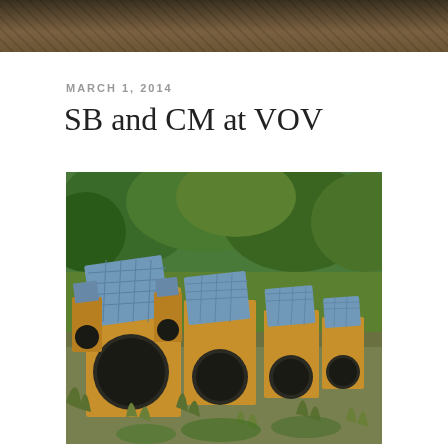[Figure (photo): Top banner photo: dark brown textured surface, appears to be a woven or grid pattern, cropped at top of page]
MARCH 1, 2014
SB and CM at VOV
[Figure (photo): Outdoor photograph showing a row of yellow/wooden box speakers with circular openings, each topped with a small solar panel, arranged in a line receding into the distance. The scene is set among green grass, plants and trees in the background.]